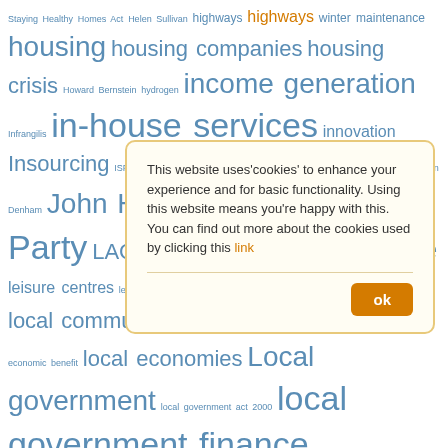Staying Healthy Homes Act Helen Sullivan highways highways winter maintenance housing housing companies housing crisis Howard Bernstein hydrogen income generation Infrangilis in-house services innovation Insourcing ISPAL ISRM Jack Dromey Jack Welch Jamie oliver Jeremy Purvis John Denham John Healey joint working Jules Pipe Labour Party LACA leadership leaner and greener Leisure leisure centres levelling up Lewisham LGA Liberal Democrats Libraries local communities Local democracy local economic benefit local economies Local government local government act 2000 local government finance local government reorganisation Local Government Staff Commission local tax localism Localism Bill Localist london councils management markets Marthas blog Michael cockell Michael Hughes Michael M... municipal entrepreneurship Neighbourhoods net zero N... NILGA northamptonshire Northern... open space Outsourcing pa... Performance Management development Philip Blond physic... place place... powers Political vision politics PRA... portfolios property utilisation public accounts committee public
Cookie notice: This website uses 'cookies' to enhance your experience and for basic functionality. Using this website means you're happy with this. You can find out more about the cookies used by clicking this link